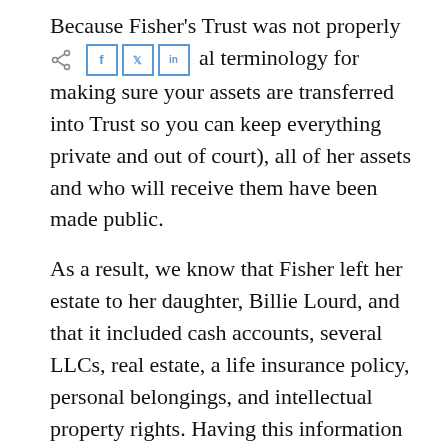Because Fisher's Trust was not properly funded (the legal terminology for making sure your assets are transferred into Trust so you can keep everything private and out of court), all of her assets and who will receive them have been made public.
As a result, we know that Fisher left her estate to her daughter, Billie Lourd, and that it included cash accounts, several LLCs, real estate, a life insurance policy, personal belongings, and intellectual property rights. Having this information public leaves Lourd at risk. Unscrupulous parties now have access to details they wouldn't otherwise